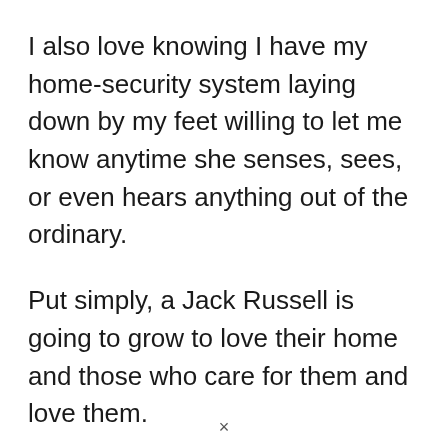I also love knowing I have my home-security system laying down by my feet willing to let me know anytime she senses, sees, or even hears anything out of the ordinary.
Put simply, a Jack Russell is going to grow to love their home and those who care for them and love them.
In return, they will go through any extreme to make sure you are taken care of as well.
×